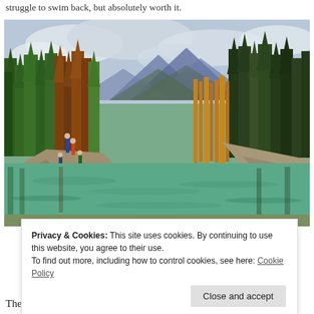struggle to swim back, but absolutely worth it.
[Figure (photo): A mountain lake or river with green-blue calm water, rocky shores, and conifer forest with some orange/red autumn or fire-killed trees. Mountains visible in background under cloudy sky. Several people visible on rocks near water.]
Privacy & Cookies: This site uses cookies. By continuing to use this website, you agree to their use.
To find out more, including how to control cookies, see here: Cookie Policy
[Close and accept button]
The ice fields parkway is something you definitely want